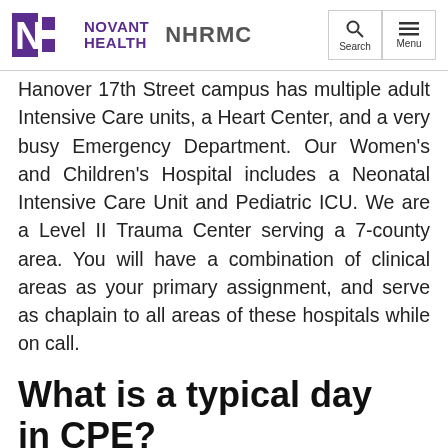Novant Health NHRMC
Hanover 17th Street campus has multiple adult Intensive Care units, a Heart Center, and a very busy Emergency Department. Our Women's and Children's Hospital includes a Neonatal Intensive Care Unit and Pediatric ICU. We are a Level II Trauma Center serving a 7-county area. You will have a combination of clinical areas as your primary assignment, and serve as chaplain to all areas of these hospitals while on call.
What is a typical day in CPE?